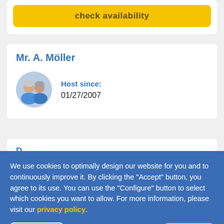[Figure (screenshot): Yellow 'check availability' button inside a white card at the top of the page]
Mr. A. Möller
[Figure (photo): Circular avatar photo of two people wearing blue jackets]
Host since:
01/27/2007
We use cookies to optimally design our website for you and to continuously improve it. By clicking the "Accept" button, you agree to its use. You can use the "Configure" button to select which cookies you want to allow. For more information, please visit our privacy policy.